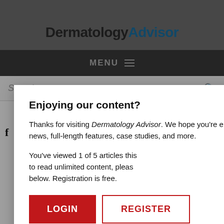DermatologyAdvisor
MENU
Search...
H
NEXT POST IN GENERAL D
Laser Trea Onychomy
Enjoying our content?
Thanks for visiting Dermatology Advisor. We hope you're enjoying the latest clinical news, full-length features, case studies, and more.
You've viewed 1 of 5 articles this [month]. To read unlimited content, please [register] below. Registration is free.
LOGIN
REGISTER